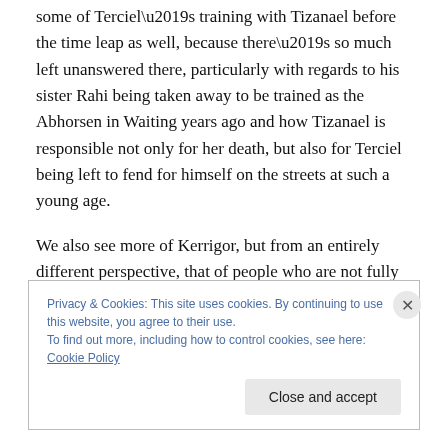some of Terciel’s training with Tizanael before the time leap as well, because there’s so much left unanswered there, particularly with regards to his sister Rahi being taken away to be trained as the Abhorsen in Waiting years ago and how Tizanael is responsible not only for her death, but also for Terciel being left to fend for himself on the streets at such a young age.
We also see more of Kerrigor, but from an entirely different perspective, that of people who are not fully aware of who and what he is and do not have the time to figure it out.
Privacy & Cookies: This site uses cookies. By continuing to use this website, you agree to their use.
To find out more, including how to control cookies, see here: Cookie Policy
Close and accept